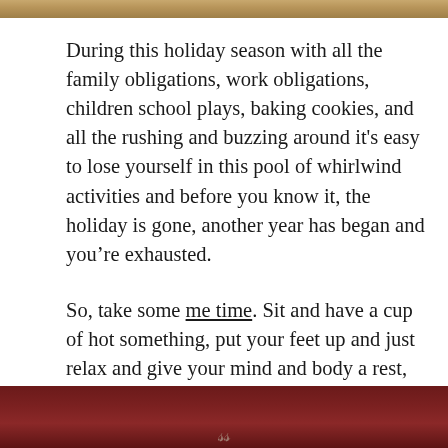[Figure (photo): Partial photo visible at top of page, cropped]
During this holiday season with all the family obligations, work obligations, children school plays, baking cookies, and all the rushing and buzzing around it's easy to lose yourself in this pool of whirlwind activities and before you know it, the holiday is gone, another year has began and you're exhausted.
So, take some me time. Sit and have a cup of hot something, put your feet up and just relax and give your mind and body a rest, even if it's just for ten minutes, it'll do wonders for you.
[Figure (photo): Partial photo visible at bottom of page, showing dark reddish surface, cropped]